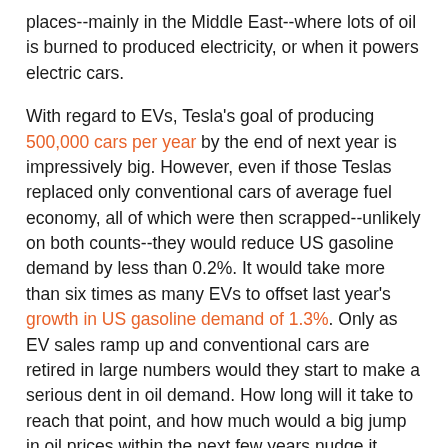places--mainly in the Middle East--where lots of oil is burned to produced electricity, or when it powers electric cars.
With regard to EVs, Tesla's goal of producing 500,000 cars per year by the end of next year is impressively big. However, even if those Teslas replaced only conventional cars of average fuel economy, all of which were then scrapped--unlikely on both counts--they would reduce US gasoline demand by less than 0.2%. It would take more than six times as many EVs to offset last year's growth in US gasoline demand of 1.3%. Only as EV sales ramp up and conventional cars are retired in large numbers would they start to make a serious dent in oil demand. How long will it take to reach that point, and how much would a big jump in oil prices within the next few years nudge it along?
Until recently, most of the speculation that the transition away from oil and other fossil fuels could happen faster came from outside the industry. Lately, though, respected voices in the industry--or at least closer to it--have begun to raise the possibility that the shift to renewables and EVs might accelerate, affecting demand sooner than expected.